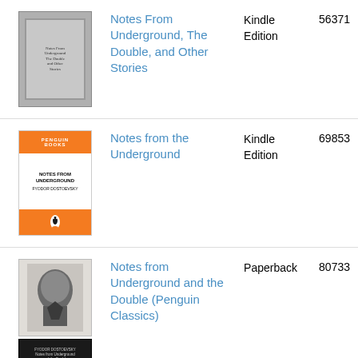[Figure (illustration): Book cover for Notes From Underground, The Double, and Other Stories - gray textured cover with label]
Notes From Underground, The Double, and Other Stories | Kindle Edition | 56371
[Figure (illustration): Penguin Books paperback cover for Notes from the Underground - orange and white Penguin design]
Notes from the Underground | Kindle Edition | 69853
[Figure (illustration): Book cover for Notes from Underground and the Double (Penguin Classics) - portrait photo cover with dark banner below]
Notes from Underground and the Double (Penguin Classics) | Paperback | 80733
[Figure (photo): Advertisement banner: red background, woman's face with red lips, text KISS BORING LIPS GOODBYE, SHOP NOW button, Macy's star logo]